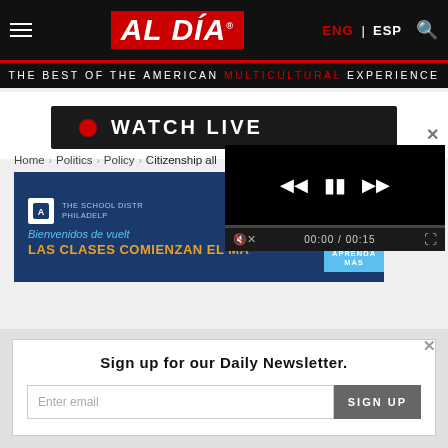AL DÍA — THE BEST OF THE AMERICAN MULTICULTURAL EXPERIENCE — ENG | ESP
WATCH LIVE
Home › Politics › Policy › Citizenship all
[Figure (screenshot): School District of Philadelphia advertisement banner: Bienvenidos de vuelta — LAS CLASES COMIENZAN EL MA... — APRENDA MÁS]
[Figure (screenshot): Video player overlay with media controls, showing 00:00 / 00:15 timestamp]
Sign up for our Daily Newsletter.
Enter email
SIGN UP